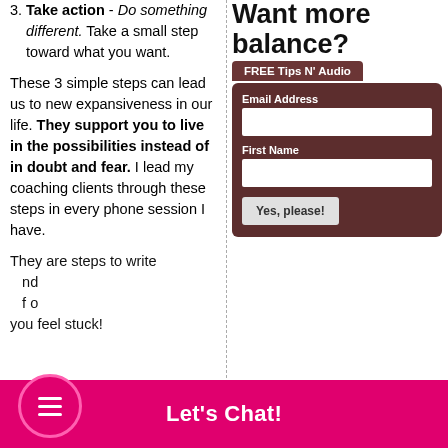3. Take action - Do something different. Take a small step toward what you want.
These 3 simple steps can lead us to new expansiveness in our life. They support you to live in the possibilities instead of in doubt and fear. I lead my coaching clients through these steps in every phone session I have.
They are steps to write nd f o you feel stuck!
Want more balance?
FREE Tips N' Audio
Email Address
First Name
Yes, please!
Let's Chat!